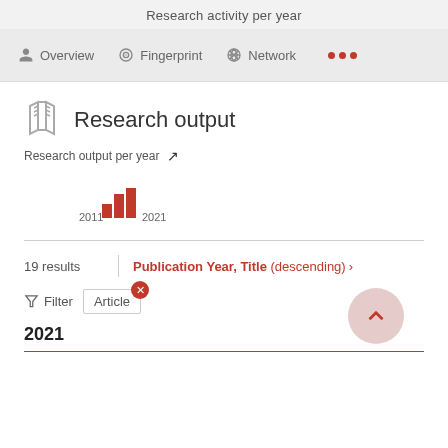Research activity per year
Overview   Fingerprint   Network   ...
Research output
Research output per year
[Figure (bar-chart): Research output per year]
19 results   Publication Year, Title (descending) ›
Filter   Article
2021